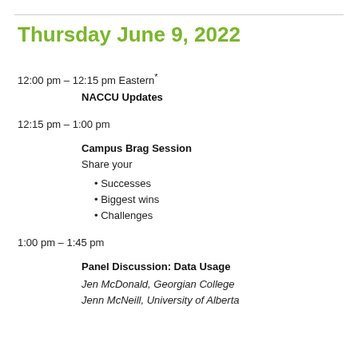Thursday June 9, 2022
12:00 pm – 12:15 pm Eastern*
NACCU Updates
12:15 pm – 1:00 pm
Campus Brag Session
Share your
Successes
Biggest wins
Challenges
1:00 pm – 1:45 pm
Panel Discussion: Data Usage
Jen McDonald, Georgian College
Jenn McNeill, University of Alberta